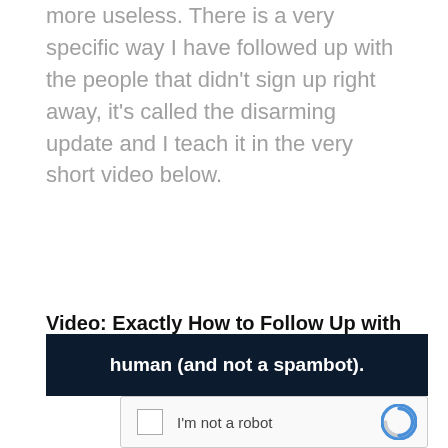more useless. There is a very specific way I have followed up with the people that didn't sign up right away, it's called the disarming update and I teach it in the very short video below.
Video: Exactly How to Follow Up with Prospects
[Figure (screenshot): Dark navy video embed overlay with white bold text reading 'human (and not a spambot).' and a reCAPTCHA 'I'm not a robot' checkbox widget below.]